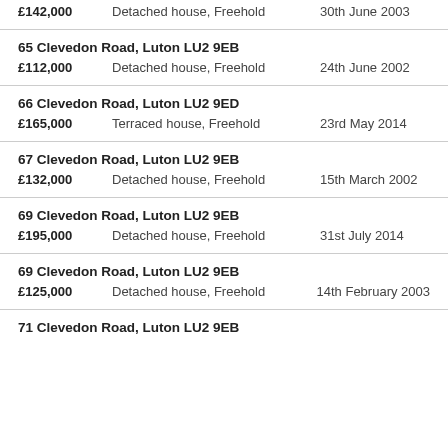£142,000  Detached house, Freehold  30th June 2003
65 Clevedon Road, Luton LU2 9EB
£112,000  Detached house, Freehold  24th June 2002
66 Clevedon Road, Luton LU2 9ED
£165,000  Terraced house, Freehold  23rd May 2014
67 Clevedon Road, Luton LU2 9EB
£132,000  Detached house, Freehold  15th March 2002
69 Clevedon Road, Luton LU2 9EB
£195,000  Detached house, Freehold  31st July 2014
69 Clevedon Road, Luton LU2 9EB
£125,000  Detached house, Freehold  14th February 2003
71 Clevedon Road, Luton LU2 9EB